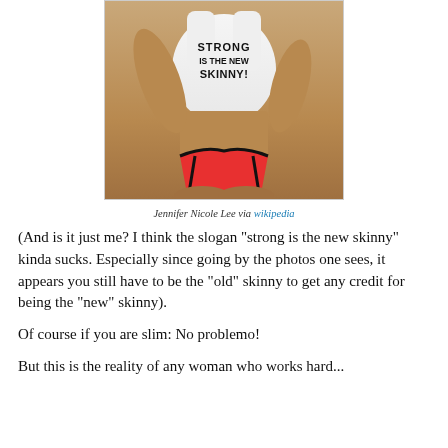[Figure (photo): A fitness model wearing a white crop top with text 'STRONG IS THE NEW SKINNY!' and red bikini bottoms, showing a tanned, athletic physique.]
Jennifer Nicole Lee via wikipedia
(And is it just me? I think the slogan "strong is the new skinny" kinda sucks. Especially since going by the photos one sees, it appears you still have to be the "old" skinny to get any credit for being the "new" skinny).
Of course if you are slim: No problemo!
But this is the reality of any woman who works hard...